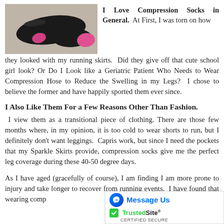[Figure (photo): Photo of a foot/leg wearing a black compression sock with pink accents, on a carpet floor]
I Love Compression Socks in General.  At First, I was torn on how they looked with my running skirts.  Did they give off that cute school girl look? Or Do I Look like a Geriatric Patient Who Needs to Wear Compression Hose to Reduce the Swelling in my Legs?  I chose to believe the former and have happily sported them ever since.
I Also Like Them For a Few Reasons Other Than Fashion.
I view them as a transitional piece of clothing.  There are those few months where, in my opinion, it is too cold to wear shorts to run, but I definitely don't want leggings.  Capris work, but since I need the pockets that my Sparkle Skirts provide, compression socks give me the perfect leg coverage during these 40-50 degree days.
As I have aged (gracefully of course), I am finding I am more prone to injury and take longer to recover from running events.  I have found that wearing comp